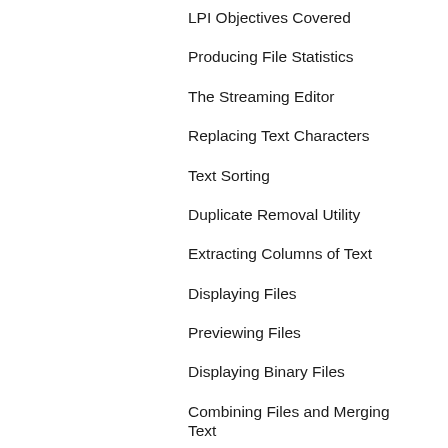LPI Objectives Covered
Producing File Statistics
The Streaming Editor
Replacing Text Characters
Text Sorting
Duplicate Removal Utility
Extracting Columns of Text
Displaying Files
Previewing Files
Displaying Binary Files
Combining Files and Merging Text
Using Checksum to Check File Integrity